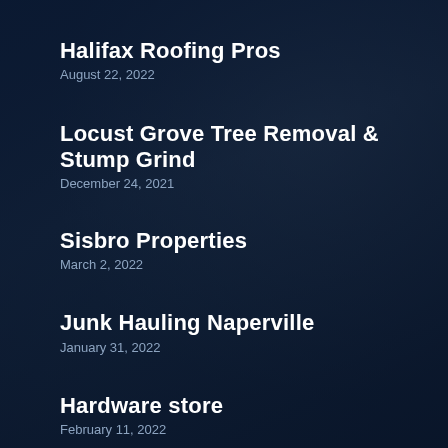Halifax Roofing Pros
August 22, 2022
Locust Grove Tree Removal & Stump Grind
December 24, 2021
Sisbro Properties
March 2, 2022
Junk Hauling Naperville
January 31, 2022
Hardware store
February 11, 2022